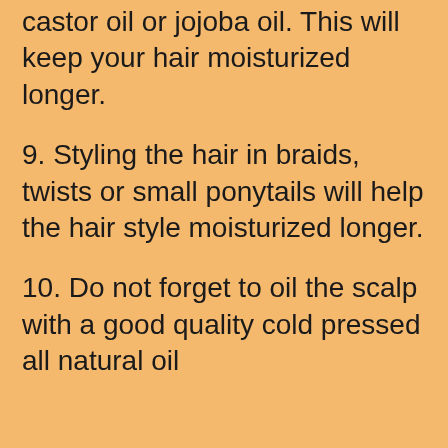castor oil or jojoba oil. This will keep your hair moisturized longer.
9. Styling the hair in braids, twists or small ponytails will help the hair style moisturized longer.
10. Do not forget to oil the scalp with a good quality cold pressed all natural oil